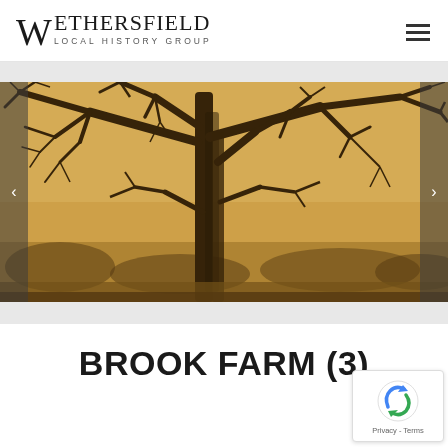WETHERSFIELD LOCAL HISTORY GROUP
[Figure (photo): Sepia-toned photograph of a large bare winter tree with sprawling branches against a warm golden sky, with smaller bare trees and shrubs in the background. Slideshow navigation arrows visible on left and right edges.]
BROOK FARM (3)